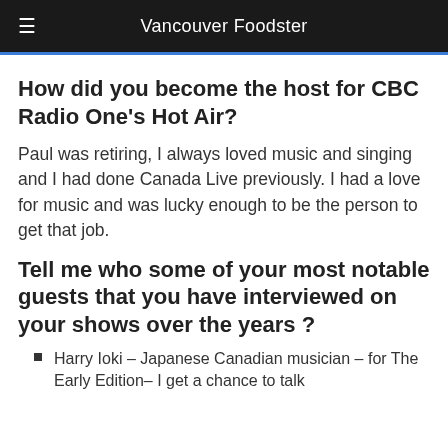Vancouver Foodster
How did you become the host for CBC Radio One's Hot Air?
Paul was retiring, I always loved music and singing and I had done Canada Live previously. I had a love for music and was lucky enough to be the person to get that job.
Tell me who some of your most notable guests that you have interviewed on your shows over the years ?
Harry Ioki – Japanese Canadian musician – for The Early Edition– I get a chance to talk